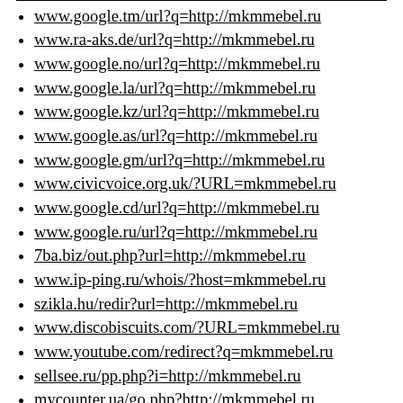www.google.tm/url?q=http://mkmmebel.ru
www.ra-aks.de/url?q=http://mkmmebel.ru
www.google.no/url?q=http://mkmmebel.ru
www.google.la/url?q=http://mkmmebel.ru
www.google.kz/url?q=http://mkmmebel.ru
www.google.as/url?q=http://mkmmebel.ru
www.google.gm/url?q=http://mkmmebel.ru
www.civicvoice.org.uk/?URL=mkmmebel.ru
www.google.cd/url?q=http://mkmmebel.ru
www.google.ru/url?q=http://mkmmebel.ru
7ba.biz/out.php?url=http://mkmmebel.ru
www.ip-ping.ru/whois/?host=mkmmebel.ru
szikla.hu/redir?url=http://mkmmebel.ru
www.discobiscuits.com/?URL=mkmmebel.ru
www.youtube.com/redirect?q=mkmmebel.ru
sellsee.ru/pp.php?i=http://mkmmebel.ru
mycounter.ua/go.php?http://mkmmebel.ru
google.com.do/url?q=http://mkmmebel.ru
www.google.ba/url?q=http://mkmmebel.ru